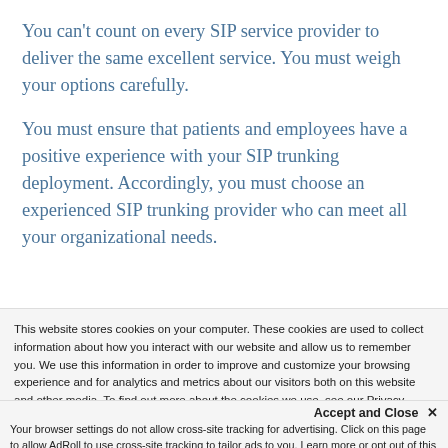You can't count on every SIP service provider to deliver the same excellent service. You must weigh your options carefully.
You must ensure that patients and employees have a positive experience with your SIP trunking deployment. Accordingly, you must choose an experienced SIP trunking provider who can meet all your organizational needs.
This website stores cookies on your computer. These cookies are used to collect information about how you interact with our website and allow us to remember you. We use this information in order to improve and customize your browsing experience and for analytics and metrics about our visitors both on this website and other media. To find out more about the cookies we use, see our Privacy Policy.
Accept and Close ✕
Your browser settings do not allow cross-site tracking for advertising. Click on this page to allow AdRoll to use cross-site tracking to tailor ads to you. Learn more or opt out of this AdRoll tracking by clicking here. This message only appears once.